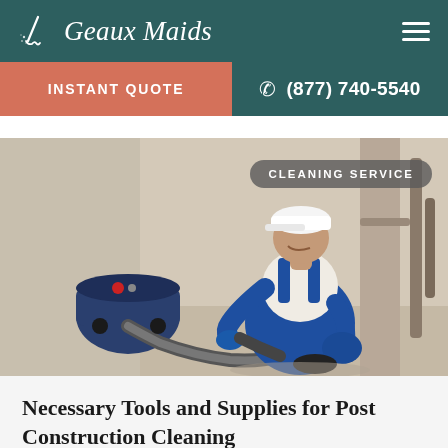Geaux Maids
INSTANT QUOTE
(877) 740-5540
[Figure (photo): A worker in blue overalls and white cap kneeling on a bare concrete floor, using a vacuum hose attached to a large industrial vacuum cleaner in an unfinished construction interior.]
CLEANING SERVICE
Necessary Tools and Supplies for Post Construction Cleaning